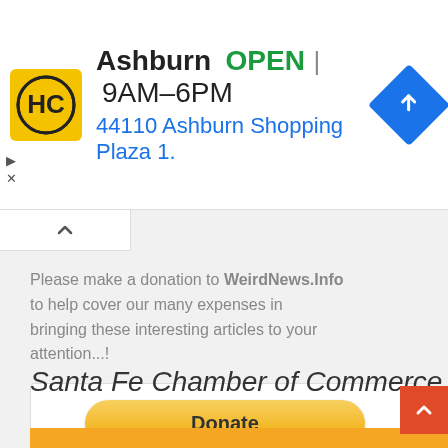[Figure (infographic): Advertisement banner for HC Ashburn location showing logo, OPEN status, hours 9AM-6PM, address 44110 Ashburn Shopping Plaza 1., and navigation icon]
Please make a donation to WeirdNews.Info to help cover our many expenses in bringing these interesting articles to your attention...!
[Figure (infographic): PayPal Donate button with credit card icons: VISA, Mastercard, Maestro, American Express, Discover, and one more card]
Santa Fe Chamber of Commerce